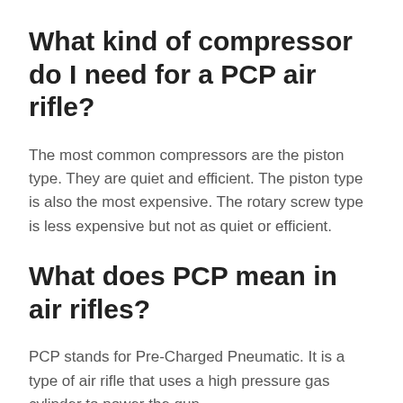What kind of compressor do I need for a PCP air rifle?
The most common compressors are the piston type. They are quiet and efficient. The piston type is also the most expensive. The rotary screw type is less expensive but not as quiet or efficient.
What does PCP mean in air rifles?
PCP stands for Pre-Charged Pneumatic. It is a type of air rifle that uses a high pressure gas cylinder to power the gun.
Conclusion